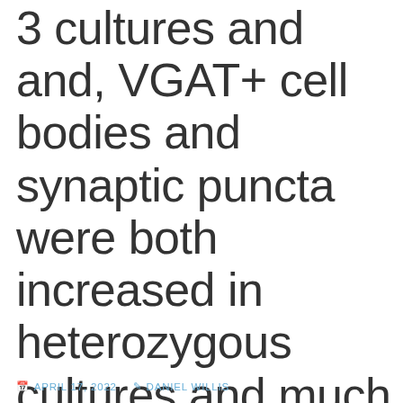3 cultures and and, VGAT+ cell bodies and synaptic puncta were both increased in heterozygous cultures and much more so in homozygous cultures (Fig
APRIL 17, 2022   DANIEL WILLIS